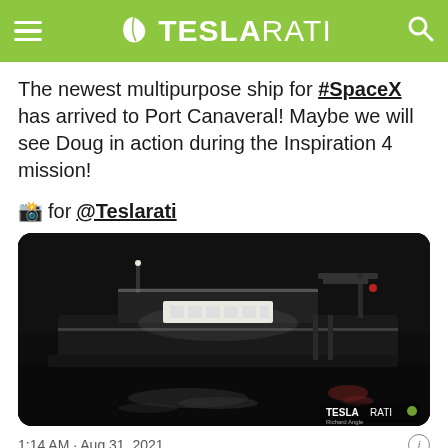TESLARATI
The newest multipurpose ship for #SpaceX has arrived to Port Canaveral! Maybe we will see Doug in action during the Inspiration 4 mission!

📸 for @Teslarati
[Figure (photo): Night photograph of a large multipurpose ship illuminated against dark water at Port Canaveral. The ship shows bright lights along its mid-section and hull. TESLARATI watermark visible in bottom right corner.]
1:14 AM · Aug 31, 2021